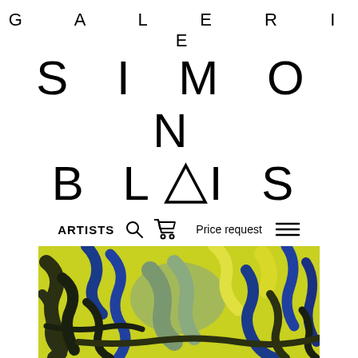GALERIE SIMON BLOIS
ARTISTS  🔍  🛒  Price request  ☰
[Figure (photo): Abstract expressionist painting with bold brushstrokes in yellow, blue, dark green/black on a yellow background]